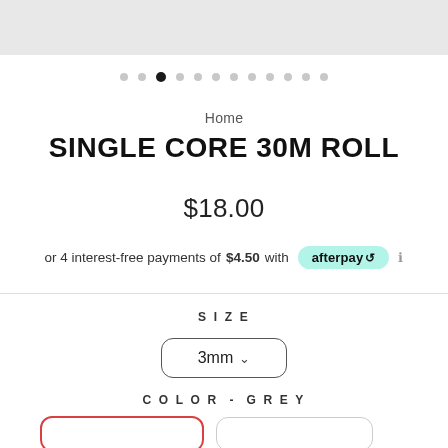[Figure (photo): Top gray image strip showing partial product image carousel]
[Figure (other): Image carousel dot indicators — 12 dots, third one filled black (active)]
Home
SINGLE CORE 30M ROLL
$18.00
or 4 interest-free payments of $4.50 with afterpay ℹ
SIZE
3mm ˅
COLOR - GREY